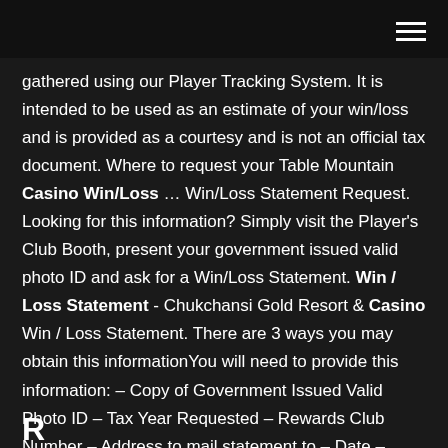gathered using our Player Tracking System. It is intended to be used as an estimate of your win/loss and is provided as a courtesy and is not an official tax document. Where to request your Table Mountain Casino Win/Loss … Win/Loss Statement Request. Looking for this information? Simply visit the Player's Club Booth, present your government issued valid photo ID and ask for a Win/Loss Statement. Win / Loss Statement - Chukchansi Gold Resort & Casino Win / Loss Statement. There are 3 ways you may obtain this informationYou will need to provide this information: – Copy of Government Issued Valid Photo ID – Tax Year Requested – Rewards Club Number – Address to mail statement to – Date – Signature.
R